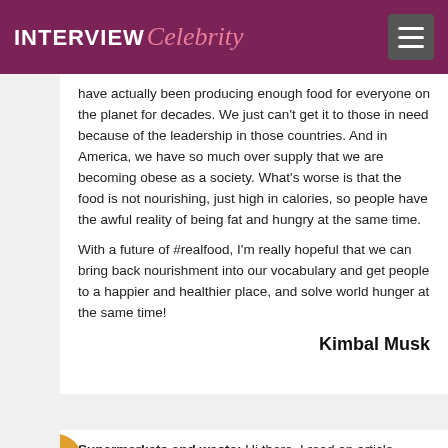INTERVIEW Celebrity
have actually been producing enough food for everyone on the planet for decades. We just can't get it to those in need because of the leadership in those countries. And in America, we have so much over supply that we are becoming obese as a society. What's worse is that the food is not nourishing, just high in calories, so people have the awful reality of being fat and hungry at the same time.

With a future of #realfood, I'm really hopeful that we can bring back nourishment into our vocabulary and get people to a happier and healthier place, and solve world hunger at the same time!
Kimbal Musk
Supermarkets and waste: Hi there. I read an article